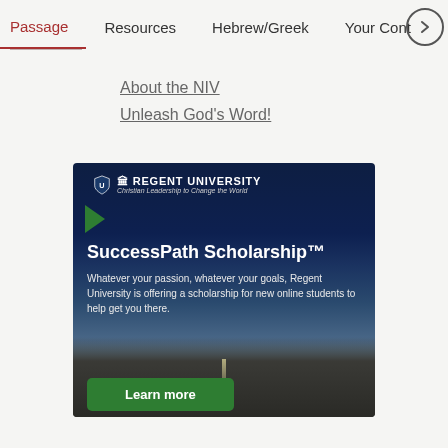Passage | Resources | Hebrew/Greek | Your Cont >
About the NIV
Unleash God's Word!
[Figure (illustration): Regent University advertisement banner. Dark blue sky with clouds over a road stretching to the horizon. Contains Regent University logo and shield, tagline 'Christian Leadership to Change the World', text 'SuccessPath Scholarship™', 'Whatever your passion, whatever your goals, Regent University is offering a scholarship for new online students to help get you there.' and a green 'Learn more' button.]